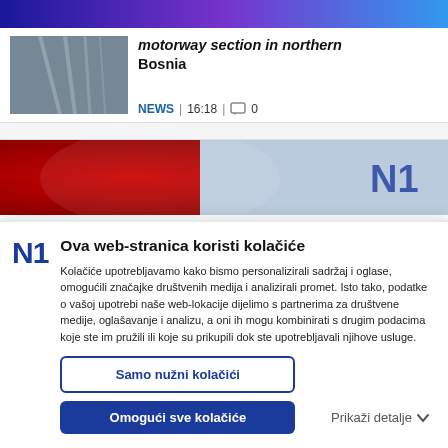[Figure (photo): Top navigation bar with gradient from dark blue to purple to blue]
[Figure (photo): Thumbnail image of a motorway from aerial view]
motorway section in northern Bosnia
NEWS | 16:18 | 0
[Figure (photo): N1 channel promotional banner image with red and blue design]
Ova web-stranica koristi kolačiće
Kolačiće upotrebljavamo kako bismo personalizirali sadržaj i oglase, omogućili značajke društvenih medija i analizirali promet. Isto tako, podatke o vašoj upotrebi naše web-lokacije dijelimo s partnerima za društvene medije, oglašavanje i analizu, a oni ih mogu kombinirati s drugim podacima koje ste im pružili ili koje su prikupili dok ste upotrebljavali njihove usluge.
Samo nužni kolačići
Omogući sve kolačiće
Prikaži detalje